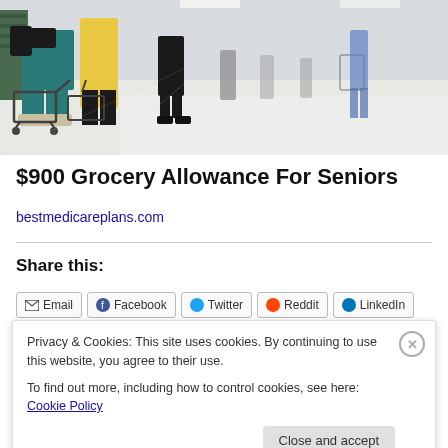[Figure (photo): Shoppers in a grocery store aisle, showing people from behind pushing shopping carts on a bright white floor. One person wears teal/turquoise pants with a backpack, another wears a yellow jacket, and there are others further down the aisle.]
$900 Grocery Allowance For Seniors
bestmedicareplans.com
Share this:
Email  Facebook  Twitter  Reddit  LinkedIn
Privacy & Cookies: This site uses cookies. By continuing to use this website, you agree to their use.
To find out more, including how to control cookies, see here: Cookie Policy
Close and accept